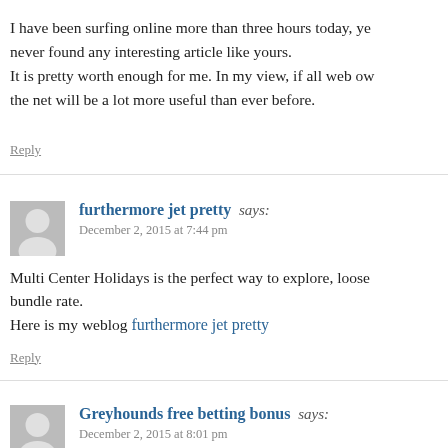I have been surfing online more than three hours today, yet I never found any interesting article like yours. It is pretty worth enough for me. In my view, if all web ow the net will be a lot more useful than ever before.
Reply
furthermore jet pretty says:
December 2, 2015 at 7:44 pm
Multi Center Holidays is the perfect way to explore, loose bundle rate.

Here is my weblog furthermore jet pretty
Reply
Greyhounds free betting bonus says:
December 2, 2015 at 8:01 pm